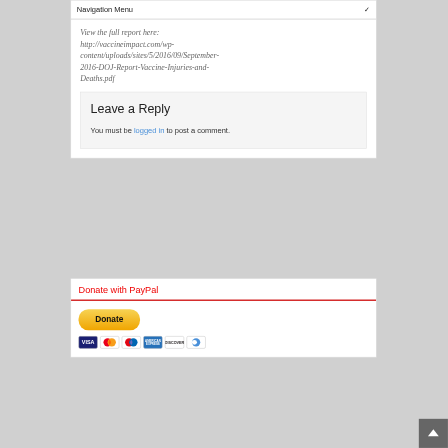Navigation Menu
View the full report here: http://vaccineimpact.com/wp-content/uploads/sites/5/2016/09/September-2016-DOJ-Report-Vaccine-Injuries-and-Deaths.pdf
Leave a Reply
You must be logged in to post a comment.
Donate with PayPal
[Figure (other): PayPal Donate button with payment card icons (Visa, Mastercard, Maestro, American Express, Discover, Diners Club)]